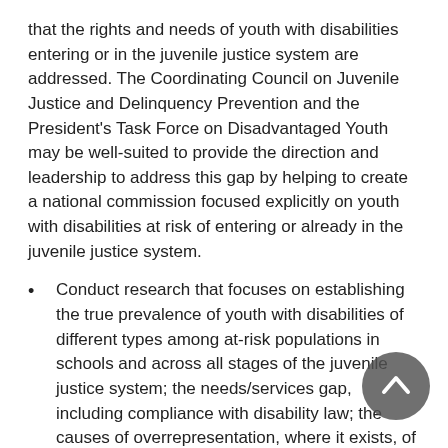that the rights and needs of youth with disabilities entering or in the juvenile justice system are addressed. The Coordinating Council on Juvenile Justice and Delinquency Prevention and the President's Task Force on Disadvantaged Youth may be well-suited to provide the direction and leadership to address this gap by helping to create a national commission focused explicitly on youth with disabilities at risk of entering or already in the juvenile justice system.
Conduct research that focuses on establishing the true prevalence of youth with disabilities of different types among at-risk populations in schools and across all stages of the juvenile justice system; the needs/services gap, including compliance with disability law; the causes of overrepresentation, where it exists, of youth with disabilities in the juvenile justice system, especially correctional facilities; and effective systems-level and program-level approaches, including federal laws, for addressing the needs of these youth, including particular attention to the types of programming most effective for youth from diverse racial/ethnic and cultural backgrounds.